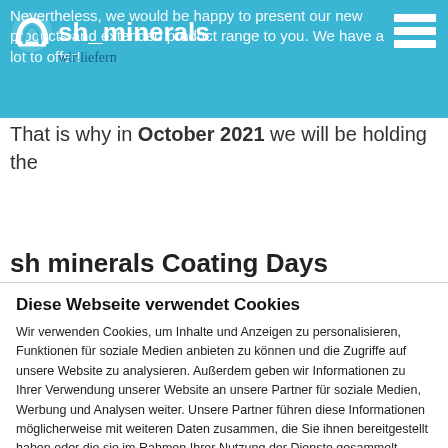sh minerals – wir liefern
Nevertheless, we would be happy to present our new products and extended product range to you. We have a lot to offer!
That is why in October 2021 we will be holding the
sh minerals Coating Days
Diese Webseite verwendet Cookies
Wir verwenden Cookies, um Inhalte und Anzeigen zu personalisieren, Funktionen für soziale Medien anbieten zu können und die Zugriffe auf unsere Website zu analysieren. Außerdem geben wir Informationen zu Ihrer Verwendung unserer Website an unsere Partner für soziale Medien, Werbung und Analysen weiter. Unsere Partner führen diese Informationen möglicherweise mit weiteren Daten zusammen, die Sie ihnen bereitgestellt haben oder die sie im Rahmen Ihrer Nutzung der Dienste gesammelt haben.
OK
Notwendig  Präferenzen  Statistiken  Marketing  Details zeigen